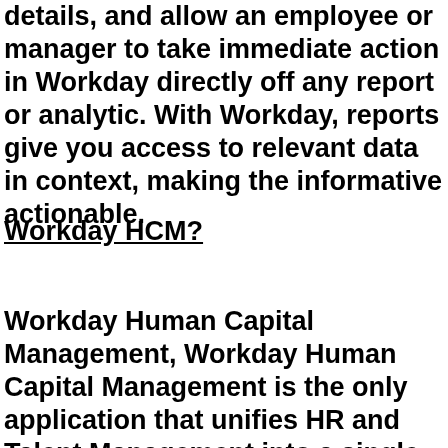details, and allow an employee or manager to take immediate action in Workday directly off any report or analytic. With Workday, reports give you access to relevant data in context, making the informative actionable.
Workday HCM?
Workday Human Capital Management, Workday Human Capital Management is the only application that unifies HR and Talent Management into a single system of record